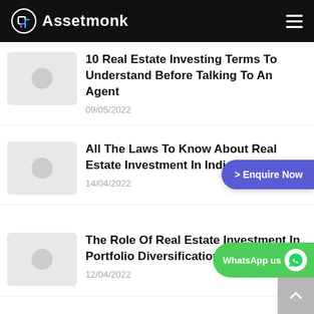Assetmonk
10 Real Estate Investing Terms To Understand Before Talking To An Agent
09/05/2022
All The Laws To Know About Real Estate Investment In India 2022
14/04/2022
The Role Of Real Estate Investment In Portfolio Diversification
12/04/2022